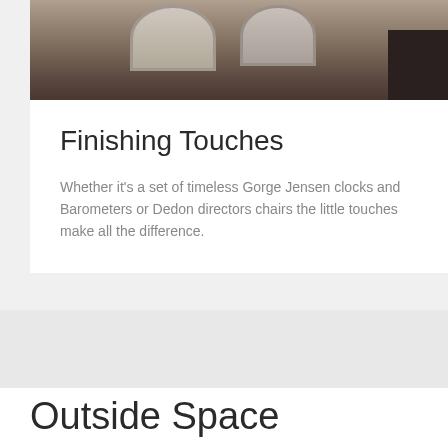[Figure (photo): Close-up photograph of vintage clocks and barometers with dark wooden background element]
Finishing Touches
Whether it's a set of timeless Gorge Jensen clocks and Barometers or Dedon directors chairs the little touches make all the difference.
Outside Space